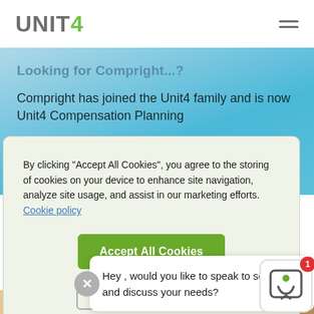UNIT4 [hamburger menu icon]
Looking for Compright...?
Compright has joined the Unit4 family and is now Unit4 Compensation Planning
By clicking “Accept All Cookies”, you agree to the storing of cookies on your device to enhance site navigation, analyze site usage, and assist in our marketing efforts. Cookie policy
Accept All Cookies
Hey , would you like to speak to someone and discuss your needs?